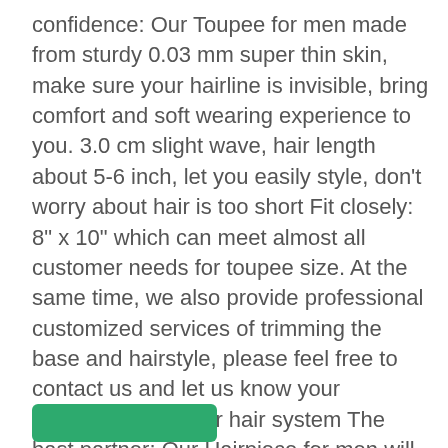confidence: Our Toupee for men made from sturdy 0.03 mm super thin skin, make sure your hairline is invisible, bring comfort and soft wearing experience to you. 3.0 cm slight wave, hair length about 5-6 inch, let you easily style, don't worry about hair is too short Fit closely: 8" x 10" which can meet almost all customer needs for toupee size. At the same time, we also provide professional customized services of trimming the base and hairstyle, please feel free to contact us and let us know your requirements of our hair system The bast partner: Our Hairpiece for men will be your perfect partner. Whether it's sports, swimming, parties, dates, weddings and the outdoors, you can control it easily We hope that every buyer can get more suitable products and a worry-free shopping experience. Whatever questions you have, just let us know, and we'll rapid reply within 24 hours
[Figure (other): Green button at bottom of page]